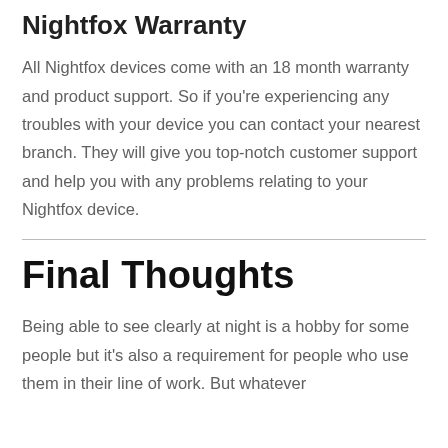Nightfox Warranty
All Nightfox devices come with an 18 month warranty and product support. So if you're experiencing any troubles with your device you can contact your nearest branch. They will give you top-notch customer support and help you with any problems relating to your Nightfox device.
Final Thoughts
Being able to see clearly at night is a hobby for some people but it's also a requirement for people who use them in their line of work. But whatever